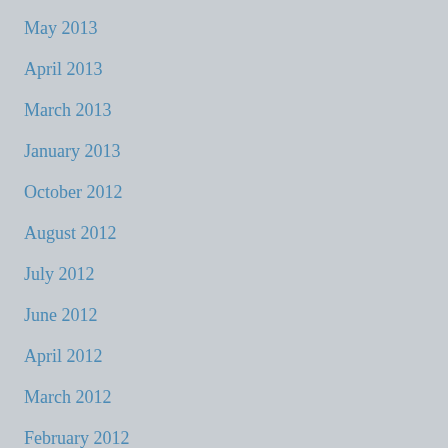May 2013
April 2013
March 2013
January 2013
October 2012
August 2012
July 2012
June 2012
April 2012
March 2012
February 2012
December 2011
November 2011
October 2011